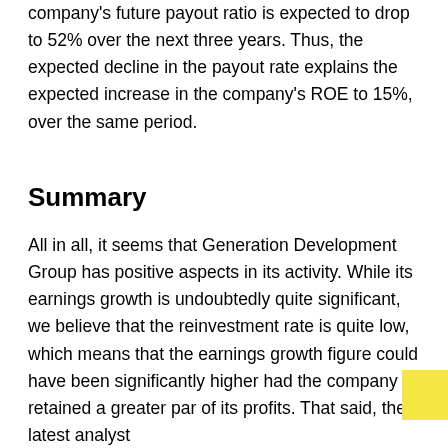company's future payout ratio is expected to drop to 52% over the next three years. Thus, the expected decline in the payout rate explains the expected increase in the company's ROE to 15%, over the same period.
Summary
All in all, it seems that Generation Development Group has positive aspects in its activity. While its earnings growth is undoubtedly quite significant, we believe that the reinvestment rate is quite low, which means that the earnings growth figure could have been significantly higher had the company retained a greater part of its profits. That said, the latest analyst